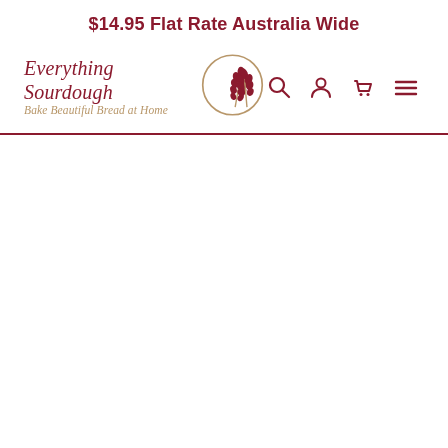$14.95 Flat Rate Australia Wide
[Figure (logo): Everything Sourdough logo with wheat emblem in a circle. Text reads 'Everything Sourdough' and 'Bake Beautiful Bread at Home'. Navigation icons: search, account, cart, menu.]